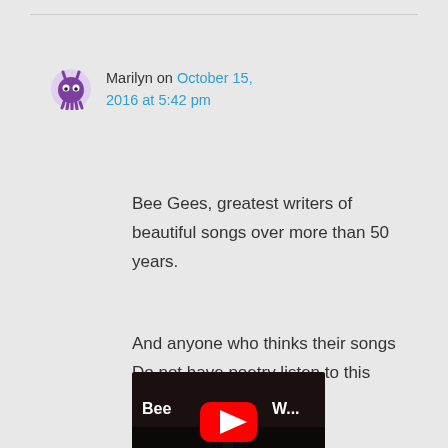Marilyn on October 15, 2016 at 5:42 pm
Bee Gees, greatest writers of beautiful songs over more than 50 years.
And anyone who thinks their songs Do not have poetry listen to this timeless tune.
[Figure (screenshot): YouTube video thumbnail showing 'Bee Gees W...' title text on dark background with YouTube play button overlay]